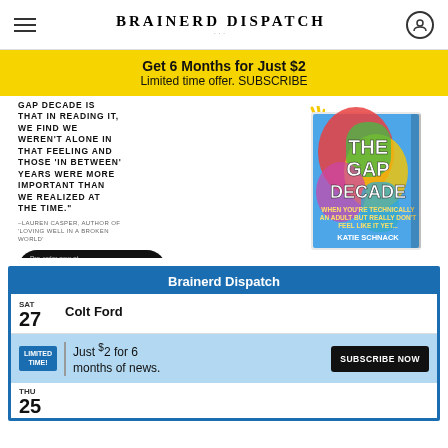Brainerd Dispatch
Get 6 Months for Just $2 Limited time offer. SUBSCRIBE
[Figure (photo): Book cover of 'The Gap Decade' by Katie Schnack with colorful abstract illustration]
GAP DECADE IS THAT IN READING IT, WE FIND WE WEREN'T ALONE IN THAT FEELING AND THOSE 'IN BETWEEN' YEARS WERE MORE IMPORTANT THAN WE REALIZED AT THE TIME." –LAUREN CASPER, AUTHOR OF 'LOVING WELL IN A BROKEN WORLD'
Pre-order now at amazon
Brainerd Dispatch
SAT 27 Colt Ford
LIMITED TIME! Just $2 for 6 months of news. SUBSCRIBE NOW
THU 25